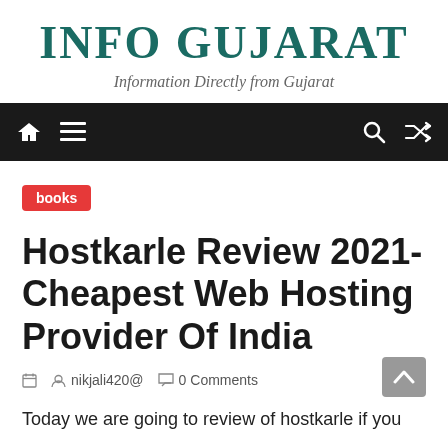INFO GUJARAT
Information Directly from Gujarat
[Figure (screenshot): Navigation bar with home icon, hamburger menu, search icon, and shuffle icon on dark background]
books
Hostkarle Review 2021- Cheapest Web Hosting Provider Of India
nikjali420@   0 Comments
Today we are going to review of hostkarle if you